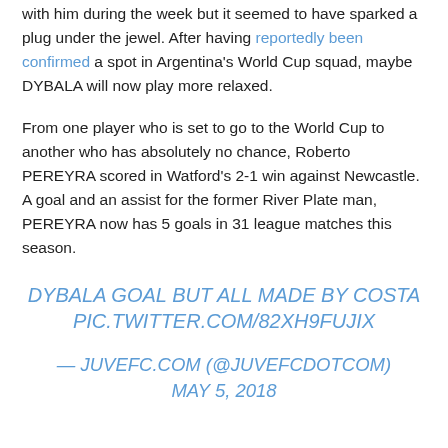with him during the week but it seemed to have sparked a plug under the jewel. After having reportedly been confirmed a spot in Argentina's World Cup squad, maybe DYBALA will now play more relaxed.
From one player who is set to go to the World Cup to another who has absolutely no chance, Roberto PEREYRA scored in Watford's 2-1 win against Newcastle. A goal and an assist for the former River Plate man, PEREYRA now has 5 goals in 31 league matches this season.
DYBALA GOAL BUT ALL MADE BY COSTA PIC.TWITTER.COM/82XH9FUJIX
— JUVEFC.COM (@JUVEFCDOTCOM) MAY 5, 2018